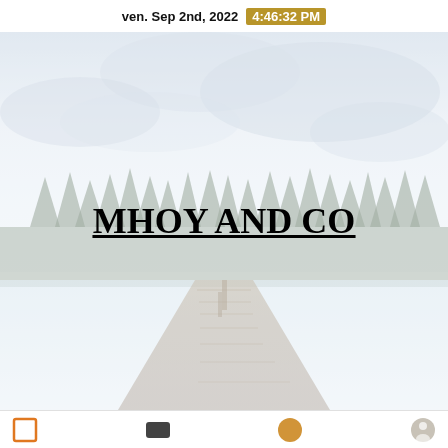ven. Sep 2nd, 2022  4:46:32 PM
[Figure (photo): Landscape photo of a wooden dock extending over a calm lake, surrounded by a misty forest of evergreen trees under a pale overcast sky. The image has a very light, washed-out, high-key tone.]
MHOY AND CO